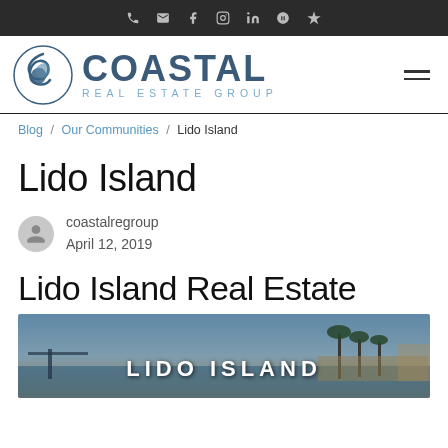Coastal Real Estate Group navigation bar with social icons
[Figure (logo): Coastal Real Estate Group logo with wave icon and text]
Blog / Our Communities / Lido Island
Lido Island
coastalregroup
April 12, 2019
Lido Island Real Estate
[Figure (photo): Lido Island coastal scene with pier, palm trees, and waterfront at dusk. Text overlay: LIDO ISLAND]